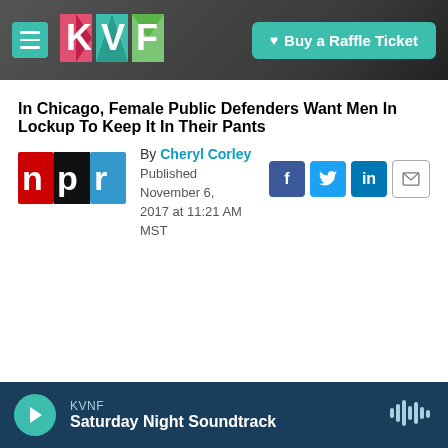[Figure (screenshot): Navigation bar with hamburger menu, KVF colorful logo, and teal 'Buy a Raffle Ticket' button on dark rocky background]
In Chicago, Female Public Defenders Want Men In Lockup To Keep It In Their Pants
By Cheryl Corley
Published November 6, 2017 at 11:21 AM MST
[Figure (logo): NPR logo — red n, black p, blue r on white background]
[Figure (other): Social share icons: Facebook (blue f), Twitter (blue bird), LinkedIn (blue in), Email (envelope outline)]
KVNF Saturday Night Soundtrack